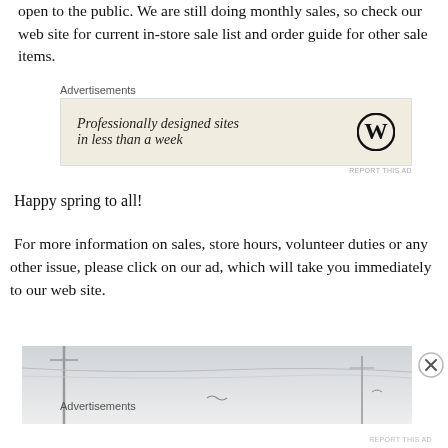open to the public.  We are still doing monthly sales, so check our web site for current in-store sale list and order guide for other sale items.
[Figure (other): Advertisement box with WordPress logo and text 'Professionally designed sites in less than a week' on a beige background]
Happy spring to all!
For more information on sales, store hours, volunteer duties or any other issue, please click on our ad, which will take you immediately to our web site.
[Figure (photo): Partial photo showing power lines/utility poles against a grey sky]
Advertisements